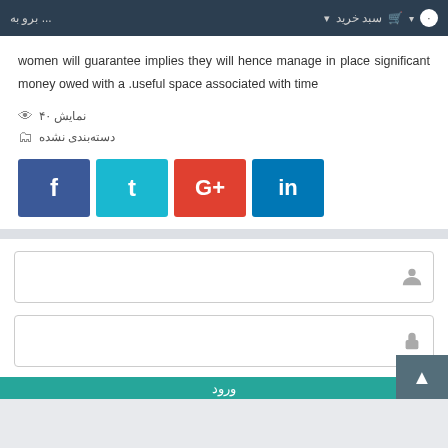بیدخرید  سبد خرید  ... بروبه
women will guarantee implies they will hence manage in place significant money owed with a useful space associated with time.
نمایش ۴۰
دسته‌بندی نشده
[Figure (infographic): Social share buttons: Facebook (blue), Twitter (teal), Google+ (red), LinkedIn (blue)]
[Figure (infographic): Input field with user icon for name]
[Figure (infographic): Input field with lock icon for password]